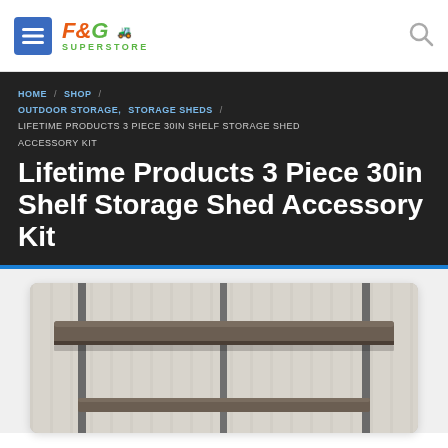F&G Superstore
HOME / SHOP / OUTDOOR STORAGE, STORAGE SHEDS / LIFETIME PRODUCTS 3 PIECE 30IN SHELF STORAGE SHED ACCESSORY KIT
Lifetime Products 3 Piece 30in Shelf Storage Shed Accessory Kit
[Figure (photo): Product photo of Lifetime Products 3 Piece 30in Shelf, showing a dark brown/grey plastic shelf mounted to metal vertical poles, with corrugated metal shed wall visible in the background.]